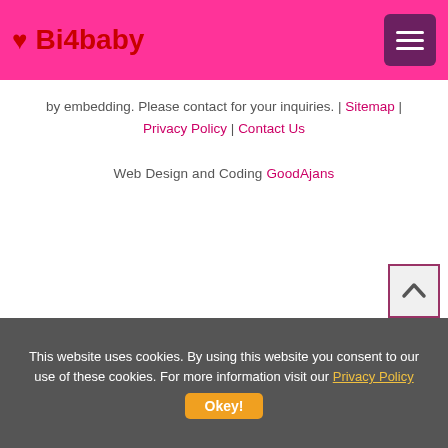♥ Bi4baby
by embedding. Please contact for your inquiries. | Sitemap | Privacy Policy | Contact Us
Web Design and Coding GoodAjans
This website uses cookies. By using this website you consent to our use of these cookies. For more information visit our Privacy Policy  Okey!